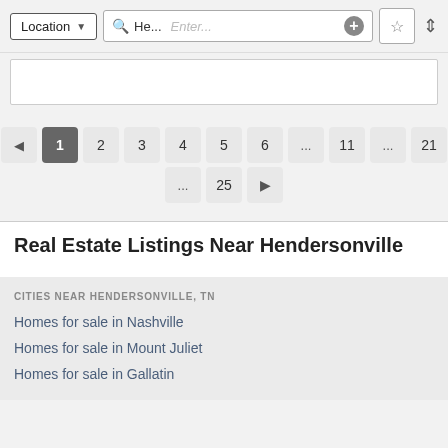[Figure (screenshot): Navigation bar with Location dropdown, search box showing 'He...' and 'Enter...' placeholder, plus button, star/favorite button, and sort icon]
[Figure (screenshot): Pagination control showing pages: left arrow, 1 (active), 2, 3, 4, 5, 6, ..., 11, ..., 21, then second row: ..., 25, right arrow]
Real Estate Listings Near Hendersonville
CITIES NEAR HENDERSONVILLE, TN
Homes for sale in Nashville
Homes for sale in Mount Juliet
Homes for sale in Gallatin